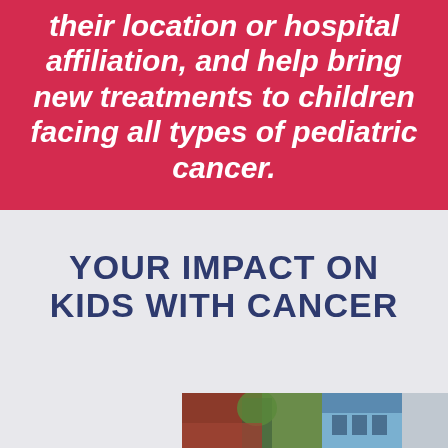their location or hospital affiliation, and help bring new treatments to children facing all types of pediatric cancer.
YOUR IMPACT ON KIDS WITH CANCER
[Figure (photo): Partial photo of a person (child or teenager) standing outdoors in front of a building, with trees visible in the background.]